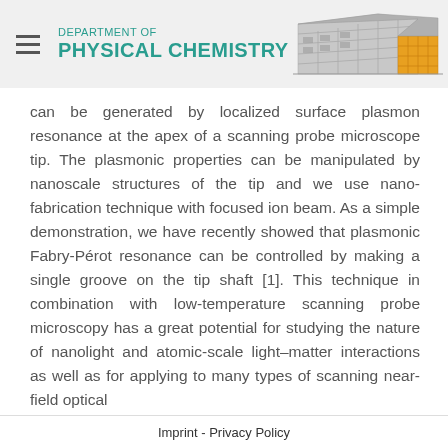DEPARTMENT OF PHYSICAL CHEMISTRY
can be generated by localized surface plasmon resonance at the apex of a scanning probe microscope tip. The plasmonic properties can be manipulated by nanoscale structures of the tip and we use nano-fabrication technique with focused ion beam. As a simple demonstration, we have recently showed that plasmonic Fabry-Pérot resonance can be controlled by making a single groove on the tip shaft [1]. This technique in combination with low-temperature scanning probe microscopy has a great potential for studying the nature of nanolight and atomic-scale light–matter interactions as well as for applying to many types of scanning near-field optical
Imprint - Privacy Policy